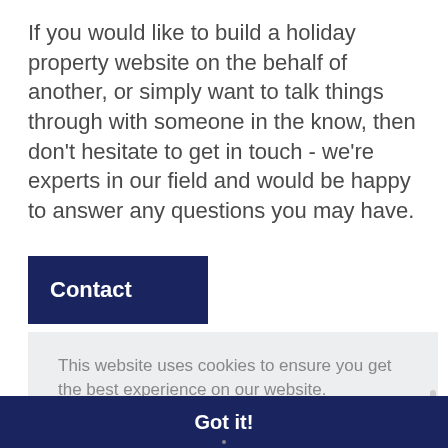If you would like to build a holiday property website on the behalf of another, or simply want to talk things through with someone in the know, then don't hesitate to get in touch - we're experts in our field and would be happy to answer any questions you may have.
Contact
This website uses cookies to ensure you get the best experience on our website. Learn more
Got it!